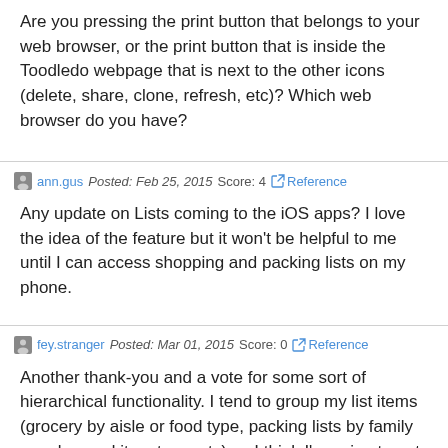Are you pressing the print button that belongs to your web browser, or the print button that is inside the Toodledo webpage that is next to the other icons (delete, share, clone, refresh, etc)? Which web browser do you have?
ann.gus  Posted: Feb 25, 2015  Score: 4  Reference
Any update on Lists coming to the iOS apps? I love the idea of the feature but it won't be helpful to me until I can access shopping and packing lists on my phone.
fey.stranger  Posted: Mar 01, 2015  Score: 0  Reference
Another thank-you and a vote for some sort of hierarchical functionality. I tend to group my list items (grocery by aisle or food type, packing lists by family member and item type, etc) so I think I'm going to put mine in Outlines for now. Still beats a plain note file!